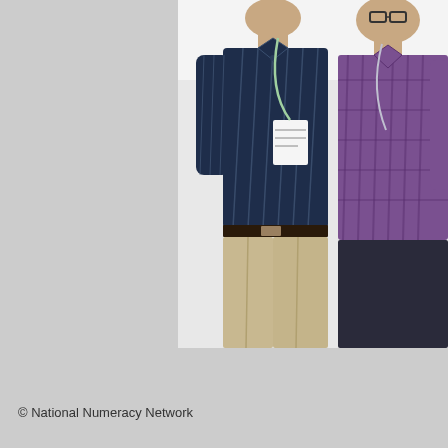[Figure (photo): Two men standing together side by side. The man on the left wears a dark navy blue pinstriped long-sleeve shirt with a name badge, and khaki/beige pleated trousers with a dark belt. The man on the right wears a purple/maroon checkered long-sleeve shirt. Both appear to be at a professional event or conference.]
© National Numeracy Network